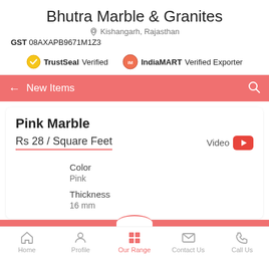Bhutra Marble & Granites
Kishangarh, Rajasthan
GST 08AXAPB9671M1Z3
TrustSeal Verified   IndiaMART Verified Exporter
New Items
Pink Marble
Rs 28 / Square Feet
Video
Color
Pink
Thickness
16 mm
Home   Profile   Our Range   Contact Us   Call Us